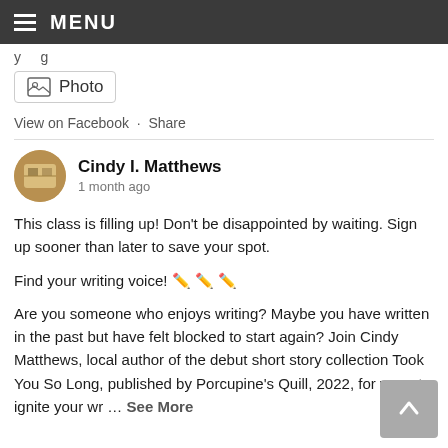MENU
y ... g ...
[Figure (screenshot): Photo button with image icon and label 'Photo']
View on Facebook · Share
Cindy I. Matthews
1 month ago
This class is filling up! Don't be disappointed by waiting. Sign up sooner than later to save your spot.

Find your writing voice! 🖊️✏️🖊️

Are you someone who enjoys writing? Maybe you have written in the past but have felt blocked to start again? Join Cindy Matthews, local author of the debut short story collection Took You So Long, published by Porcupine's Quill, 2022, for ways to ignite your wr ... See More